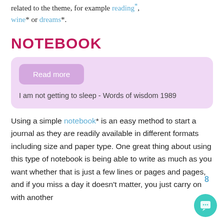related to the theme, for example reading*, wine* or dreams*.
NOTEBOOK
[Figure (screenshot): A light purple card with a 'Read more' button and text: I am not getting to sleep - Words of wisdom 1989]
Using a simple notebook* is an easy method to start a journal as they are readily available in different formats including size and paper type. One great thing about using this type of notebook is being able to write as much as you want whether that is just a few lines or pages and pages, and if you miss a day it doesn't matter, you just carry on with another
8